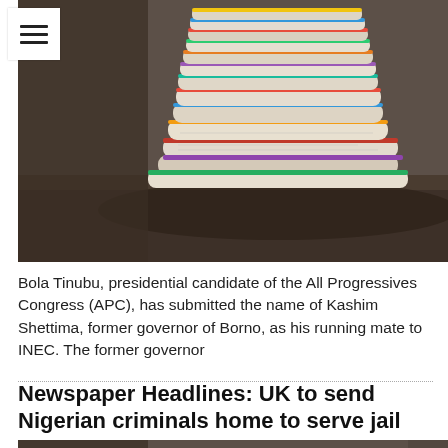[Figure (photo): Stack of rolled and folded newspapers piled on a wooden surface, blurred dark background]
Bola Tinubu, presidential candidate of the All Progressives Congress (APC), has submitted the name of Kashim Shettima, former governor of Borno, as his running mate to INEC. The former governor
Newspaper Headlines: UK to send Nigerian criminals home to serve jail terms
[Figure (photo): Stack of rolled and folded newspapers piled on a wooden surface, blurred dark background (partial, cropped at bottom)]